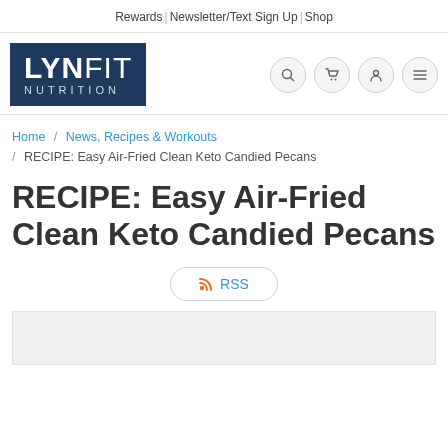Rewards | Newsletter/Text Sign Up | Shop
[Figure (logo): LynFit Nutrition logo - dark blue rectangle with bold white text LYNFIT on top and NUTRITION in smaller spaced letters below]
breadcrumb navigation with search, cart, user, and menu icon buttons
Home / News, Recipes & Workouts / RECIPE: Easy Air-Fried Clean Keto Candied Pecans
RECIPE: Easy Air-Fried Clean Keto Candied Pecans
RSS